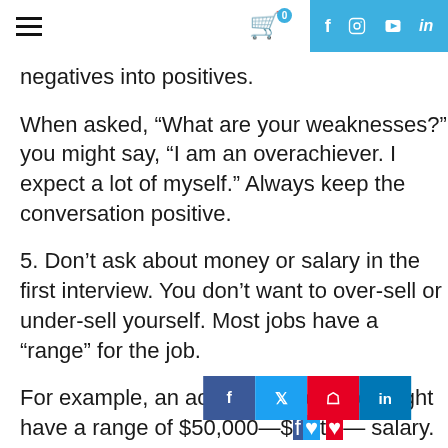≡  [cart 0]  f  © ▶ in
negatives into positives.
When asked, “What are your weaknesses?” you might say, “I am an overachiever. I expect a lot of myself.” Always keep the conversation positive.
5. Don’t ask about money or salary in the first interview. You don’t want to over-sell or under-sell yourself. Most jobs have a “range” for the job.
For example, an accounting position might have a range of $50,000—$[...] t[...] salary. In the second interview when the pay